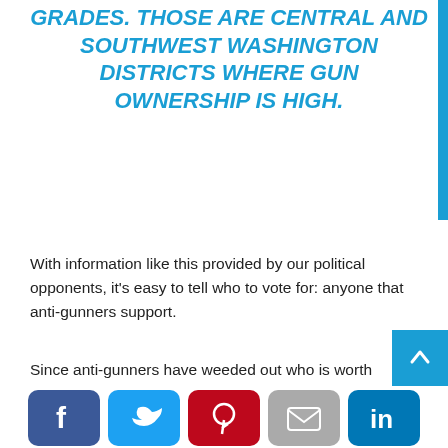GRADES. THOSE ARE CENTRAL AND SOUTHWEST WASHINGTON DISTRICTS WHERE GUN OWNERSHIP IS HIGH.
With information like this provided by our political opponents, it's easy to tell who to vote for: anyone that anti-gunners support.
Since anti-gunners have weeded out who is worth supporting (by stating their opposition), it's time for us to get busy educating, campaigning, and voting.
TAGS: Anti-Gunners | Legislative Score Card | Pro-Gun | Voting Report Card | Voting Score Card
[Figure (other): Social media share buttons: Facebook, Twitter, Pinterest, Email, LinkedIn]